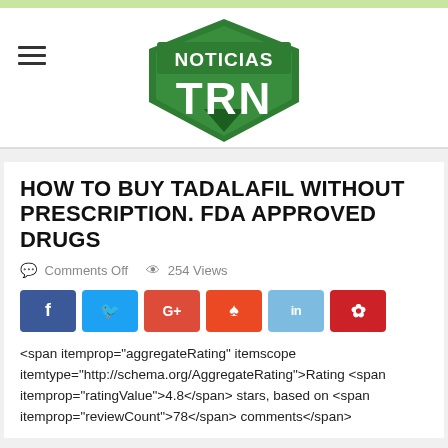[Figure (logo): Noticias TRN green shield logo with white text]
HOW TO BUY TADALAFIL WITHOUT PRESCRIPTION. FDA APPROVED DRUGS
Comments Off   254 Views
<span itemprop="aggregateRating" itemscope itemtype="http://schema.org/AggregateRating">Rating <span itemprop="ratingValue">4.8</span> stars, based on <span itemprop="reviewCount">78</span> comments</span>